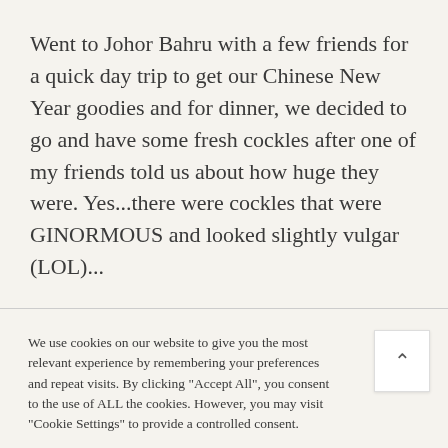Went to Johor Bahru with a few friends for a quick day trip to get our Chinese New Year goodies and for dinner, we decided to go and have some fresh cockles after one of my friends told us about how huge they were. Yes...there were cockles that were GINORMOUS and looked slightly vulgar (LOL)...
We use cookies on our website to give you the most relevant experience by remembering your preferences and repeat visits. By clicking "Accept All", you consent to the use of ALL the cookies. However, you may visit "Cookie Settings" to provide a controlled consent.